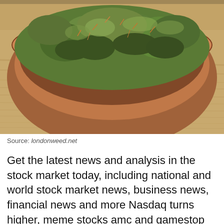[Figure (photo): A brown ceramic bowl filled with green cannabis buds, placed on a wooden surface with visible wood grain texture.]
Source: londonweed.net
Get the latest news and analysis in the stock market today, including national and world stock market news, business news, financial news and more Nasdaq turns higher, meme stocks amc and gamestop surge yahoo finance live’s julie hyman breaks down the latest stock moves in.